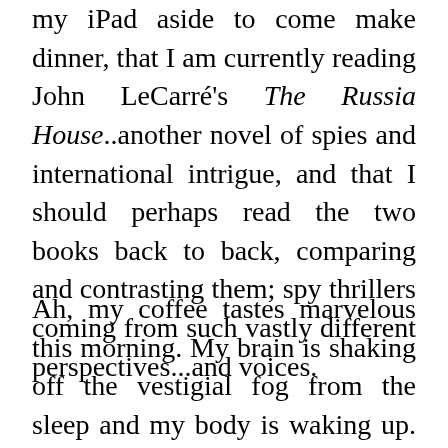my iPad aside to come make dinner, that I am currently reading John LeCarré's The Russia House..another novel of spies and international intrigue, and that I should perhaps read the two books back to back, comparing and contrasting them; spy thrillers coming from such vastly different perspectives...and voices.
Ah, my coffee tastes marvelous this morning. My brain is shaking off the vestigial fog from the sleep and my body is waking up. I am going to take this delicious cup of coffee with me to my easy chair, where I shall spend the next hour reading LeCarré, before doing the